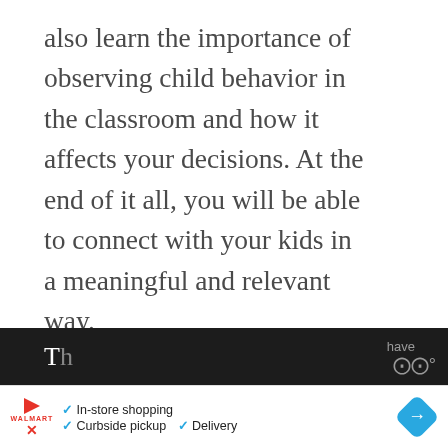also learn the importance of observing child behavior in the classroom and how it affects your decisions. At the end of it all, you will be able to connect with your kids in a meaningful and relevant way.
NurtureShock
Ashley Merryman and Po Bronson b… on early childhood development in their book.
[Figure (screenshot): What's Next promo banner: thumbnail image with text 'WHAT'S NEXT → 14 Easiest Medical...']
[Figure (screenshot): Advertisement bar at bottom: Walmart ad with In-store shopping, Curbside pickup, Delivery options and navigation icon]